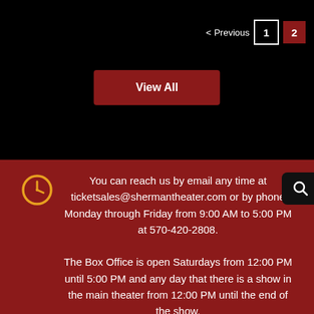< Previous  1  2
View All
You can reach us by email any time at ticketsales@shermantheater.com or by phone Monday through Friday from 9:00 AM to 5:00 PM at 570-420-2808.
The Box Office is open Saturdays from 12:00 PM until 5:00 PM and any day that there is a show in the main theater from 12:00 PM until the end of the show.
[Figure (logo): Sherman Theater marquee sign with bulb lights, partially visible at bottom of page]